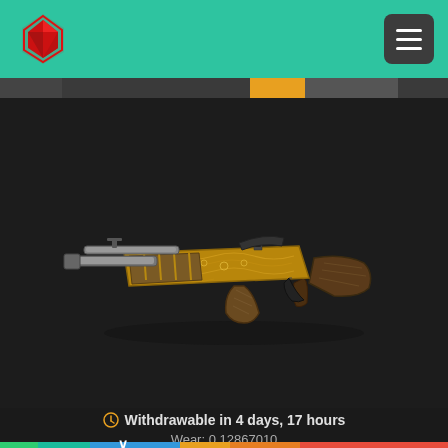Logo and navigation header
[Figure (photo): AK-47 Gold Arabesque skin - a decorated assault rifle with gold and brown ornate patterns, shown on dark background]
Withdrawable in 4 days, 17 hours
Wear: 0.12867010
★ Flip Knife | Marble Fade
Factory New / Covert Knife / 131
$321.00